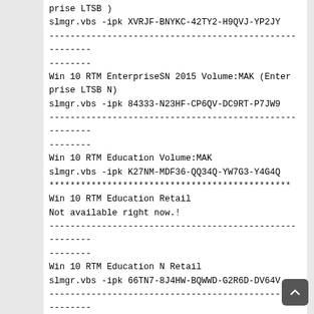prise LTSB )
slmgr.vbs -ipk XVRJF-BNYKC-42TY2-H9QVJ-YP2JY
-------------------------------------------------------
--------
Win 10 RTM EnterpriseSN 2015 Volume:MAK (Enterprise LTSB N)
slmgr.vbs -ipk 84333-N23HF-CP6QV-DC9RT-P7JW9
-------------------------------------------------------
--------
Win 10 RTM Education Volume:MAK
slmgr.vbs -ipk K27NM-MDF36-QQ34Q-YW7G3-Y4G4Q
**********************************************
Win 10 RTM Education Retail
Not available right now.!
-------------------------------------------------------
--------
Win 10 RTM Education N Retail
slmgr.vbs -ipk 66TN7-8J4HW-BQWWD-G2R6D-DV64V
-------------------------------------------------------
--------
Win 10 RTM Home (Core) Edition Retail
Not available right now.!
-------------------------------------------------------